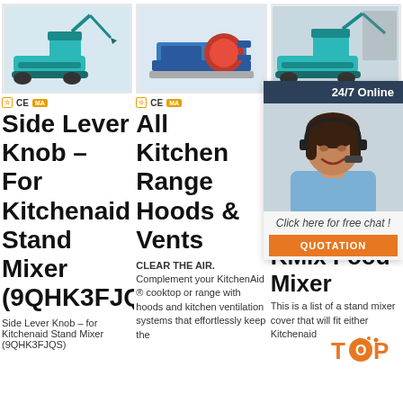[Figure (photo): Mini excavator product photo - teal/blue color]
[Figure (photo): Industrial pump/compressor product photo]
[Figure (photo): Mini excavator product photo on ground]
CE certification logos row
CE certification logos row
Side Lever Knob – For Kitchenaid Stand Mixer (9QHK3FJQS)...
All Kitchen Range Hoods & Vents
Mixer...
CLEAR THE AIR. Complement your KitchenAid ® cooktop or range with hoods and kitchen ventilation systems that effortlessly keep the
Side Lever Knob – for Kitchenaid Stand Mixer (9QHK3FJQS)
This is a list of a stand mixer cover that will fit either Kitchenaid
[Figure (photo): 24/7 Online chat agent - woman with headset smiling]
24/7 Online
Click here for free chat !
QUOTATION